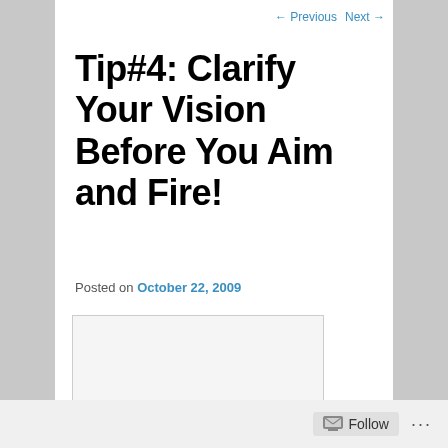← Previous   Next →
Tip#4: Clarify Your Vision Before You Aim and Fire!
Posted on October 22, 2009
[Figure (other): Empty white image placeholder box with light border]